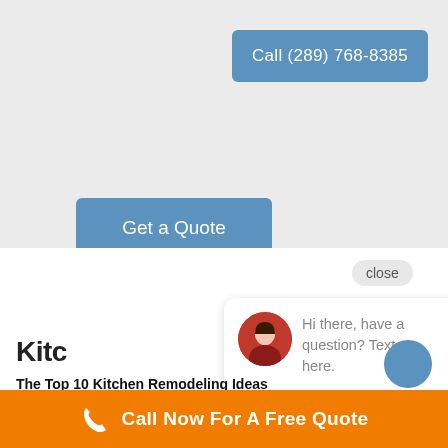Call (289) 768-8385
Get a Quote
close
[Figure (photo): Chat bubble popup with avatar of a woman and text: Hi there, have a question? Text us here.]
Hi there, have a question? Text us here.
Kitc
The Top 10 Kitchen Remodeling Ideas
Call Now For A Free Quote